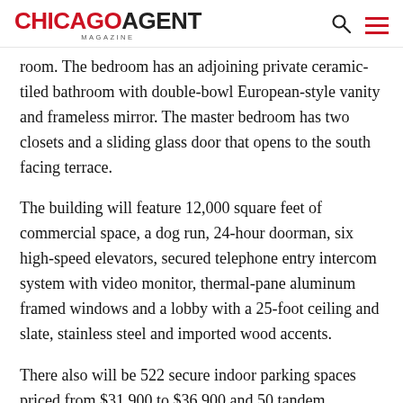CHICAGO AGENT MAGAZINE
room. The bedroom has an adjoining private ceramic-tiled bathroom with double-bowl European-style vanity and frameless mirror. The master bedroom has two closets and a sliding glass door that opens to the south facing terrace.
The building will feature 12,000 square feet of commercial space, a dog run, 24-hour doorman, six high-speed elevators, secured telephone entry intercom system with video monitor, thermal-pane aluminum framed windows and a lobby with a 25-foot ceiling and slate, stainless steel and imported wood accents.
There also will be 522 secure indoor parking spaces priced from $31,900 to $36,900 and 50 tandem